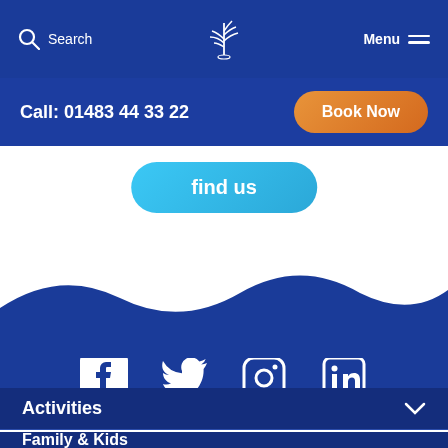Search | [logo] | Menu
Call: 01483 44 33 22
Book Now
find us
[Figure (other): Wave shape separator between white content area and dark blue footer section]
[Figure (other): Social media icons: Facebook, Twitter, Instagram, LinkedIn on dark blue background]
Activities
Family & Kids